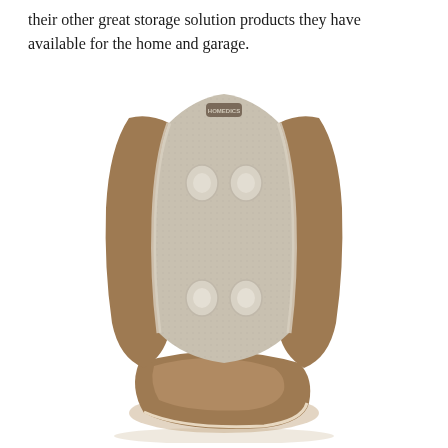their other great storage solution products they have available for the home and garage.
[Figure (photo): A homedics shiatsu massage seat cushion with back and seat portions, tan/brown leather exterior with grey mesh front panel and massage nodes visible.]